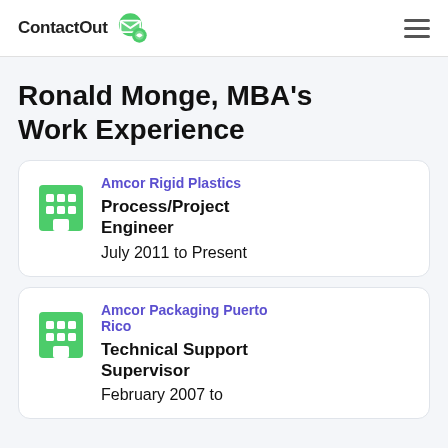ContactOut
Ronald Monge, MBA's Work Experience
Amcor Rigid Plastics
Process/Project Engineer
July 2011 to Present
Amcor Packaging Puerto Rico
Technical Support Supervisor
February 2007 to